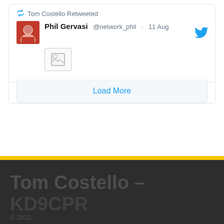Tom Costello Retweeted
Phil Gervasi @network_phil · 11 Aug
[Figure (screenshot): Image placeholder thumbnail with a photo icon]
4  49  Twitter
Load More
Tom Costello –
© 2022